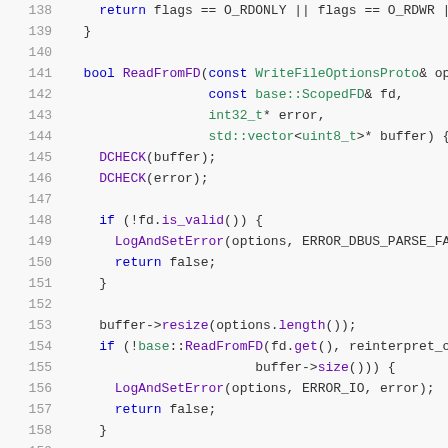[Figure (screenshot): Source code listing showing C++ function ReadFromFD with line numbers 138-158, syntax highlighted in blue, green, and purple on a light gray background.]